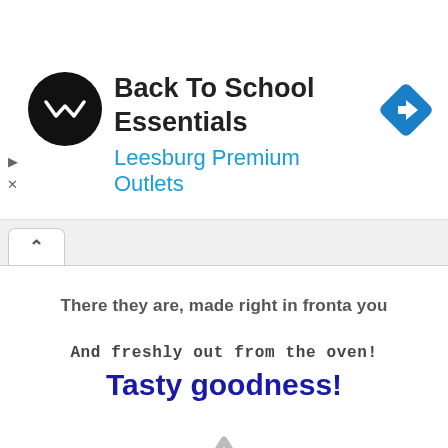[Figure (screenshot): Advertisement banner for Back To School Essentials at Leesburg Premium Outlets, with circular black logo, blue text, and a blue diamond navigation arrow icon.]
[Figure (screenshot): Browser tab bar with an upward chevron/caret icon tab on the left.]
There they are, made right in fronta you
And freshly out from the oven!
Tasty goodness!
[Figure (illustration): Gray warning/caution triangle icon with exclamation mark.]